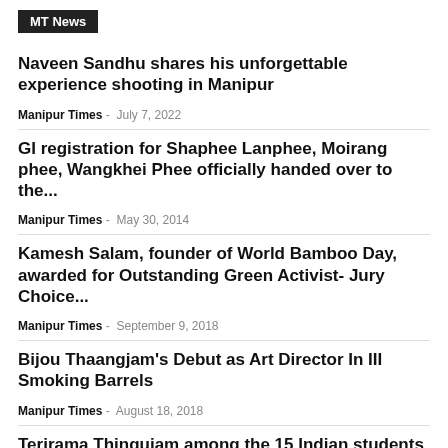MT News
Naveen Sandhu shares his unforgettable experience shooting in Manipur
Manipur Times - July 7, 2022
GI registration for Shaphee Lanphee, Moirang phee, Wangkhei Phee officially handed over to the...
Manipur Times - May 30, 2014
Kamesh Salam, founder of World Bamboo Day, awarded for Outstanding Green Activist- Jury Choice...
Manipur Times - September 9, 2018
Bijou Thaangjam's Debut as Art Director In III Smoking Barrels
Manipur Times - August 18, 2018
Terirama Thingujam among the 15 Indian students met first lady of South Korea on...
Manipur Times - July 5, 2018